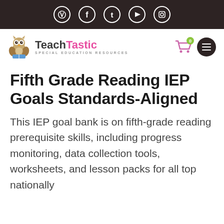TeachTastic Special Education Resources — navigation header with social icons (Pinterest, Facebook, Twitter, YouTube, Instagram)
[Figure (logo): TeachTastic logo with owl mascot and text 'TeachTastic Special Education Resources', shopping cart icon with 0 badge, hamburger menu button]
Fifth Grade Reading IEP Goals Standards-Aligned
This IEP goal bank is on fifth-grade reading prerequisite skills, including progress monitoring, data collection tools, worksheets, and lesson packs for all top nationally